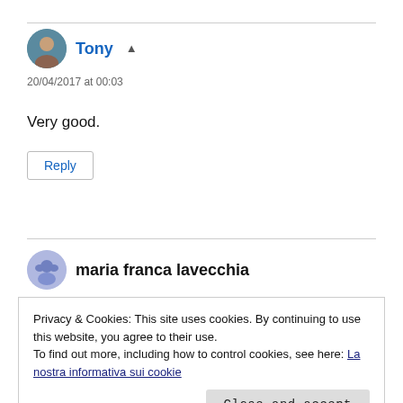Tony [icon] — 20/04/2017 at 00:03
Very good.
Reply
maria franca lavecchia
Privacy & Cookies: This site uses cookies. By continuing to use this website, you agree to their use.
To find out more, including how to control cookies, see here: La nostra informativa sui cookie
Close and accept